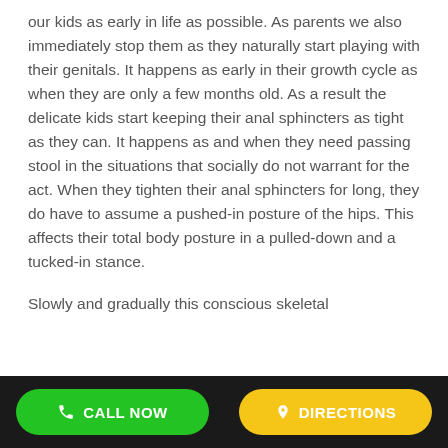our kids as early in life as possible. As parents we also immediately stop them as they naturally start playing with their genitals. It happens as early in their growth cycle as when they are only a few months old. As a result the delicate kids start keeping their anal sphincters as tight as they can. It happens as and when they need passing stool in the situations that socially do not warrant for the act. When they tighten their anal sphincters for long, they do have to assume a pushed-in posture of the hips. This affects their total body posture in a pulled-down and a tucked-in stance.
Slowly and gradually this conscious skeletal
CALL NOW   DIRECTIONS